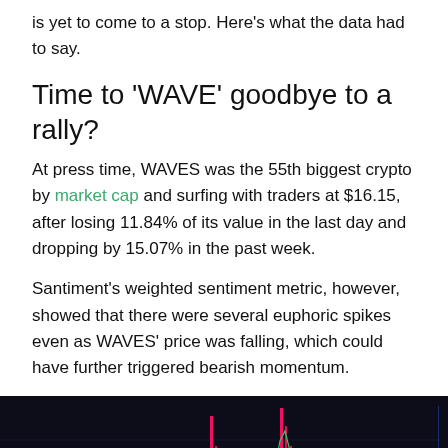is yet to come to a stop. Here's what the data had to say.
Time to 'WAVE' goodbye to a rally?
At press time, WAVES was the 55th biggest crypto by market cap and surfing with traders at $16.15, after losing 11.84% of its value in the last day and dropping by 15.07% in the past week.
Santiment's weighted sentiment metric, however, showed that there were several euphoric spikes even as WAVES' price was falling, which could have further triggered bearish momentum.
[Figure (continuous-plot): Dark background chart showing WAVES weighted sentiment (pink/magenta bars) and price line (green line) over time. Shows several euphoric spikes in sentiment alongside price movements.]